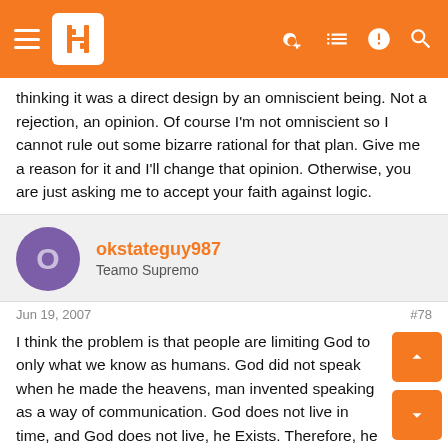Navigation bar with hamburger menu, logo, and icons
thinking it was a direct design by an omniscient being. Not a rejection, an opinion. Of course I'm not omniscient so I cannot rule out some bizarre rational for that plan. Give me a reason for it and I'll change that opinion. Otherwise, you are just asking me to accept your faith against logic.
okstateguy987
Teamo Supremo
Jun 19, 2007
#78
I think the problem is that people are limiting God to only what we know as humans. God did not speak when he made the heavens, man invented speaking as a way of communication. God does not live in time, and God does not live, he Exists. Therefore, he has no need for time, and no need to create things in any sense of time. People are limiting his creation abilities to the way we know how to create.
The first book of the Bible is not original either. The creation story is